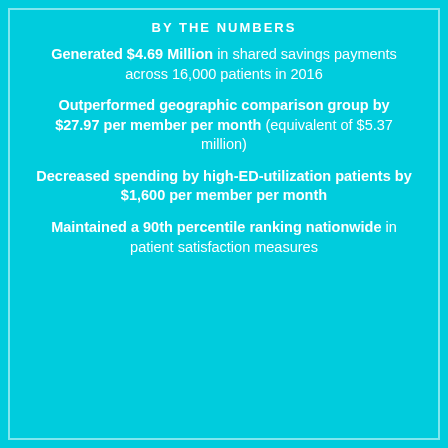BY THE NUMBERS
Generated $4.69 Million in shared savings payments across 16,000 patients in 2016
Outperformed geographic comparison group by $27.97 per member per month (equivalent of $5.37 million)
Decreased spending by high-ED-utilization patients by $1,600 per member per month
Maintained a 90th percentile ranking nationwide in patient satisfaction measures